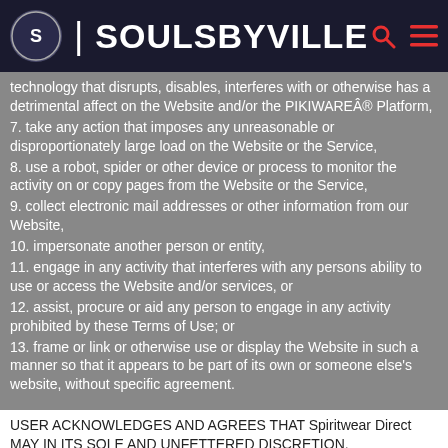[Figure (logo): Soulsbyville website header with logo, site name, search and menu icons]
technology that disrupts, disables, interferes with or otherwise has a detrimental affect on the Website and/or the PIKIWARE® Platform,
7. take any action that imposes any unreasonable or disproportionately large load on the Website or the Service,
8. use a robot, spider or other device or process to monitor the activity on or copy pages from the Website or the Service,
9. collect electronic mail addresses or other information from our Website,
10. impersonate another person or entity,
11. engage in any activity that interferes with any persons ability to use or access the Website and/or services, or
12. assist, procure or aid any person to engage in any activity prohibited by these Terms of Use; or
13. frame or link or otherwise use or display the Website in such a manner so that it appears to be part of its own or someone else's website, without specific agreement.
USER ACKNOWLEDGES AND AGREES THAT Spiritwear Direct MAY IN ITS SOLE AND UNFETTERED DISCRETION, UNILATERALLY AND WITHOUT NOTICE, TERMINATE THESE TERMS OF USE, DISABLE AND DENY ACCESS TO THE USER TO THE WEBSITE AND THE SERVICES, AND